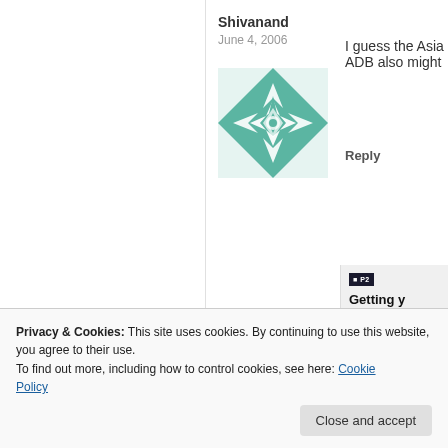Shivanand
June 4, 2006
[Figure (illustration): Green and white geometric quilt-pattern avatar icon for user Shivanand]
I guess the Asia ADB also might
Reply
[Figure (screenshot): WordPress P2 promotional panel showing 'Getting y... the sam... And free...' heading with user avatars below]
Privacy & Cookies: This site uses cookies. By continuing to use this website, you agree to their use.
To find out more, including how to control cookies, see here: Cookie Policy
Close and accept